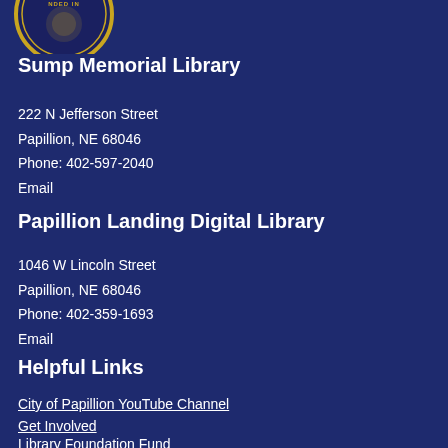[Figure (logo): Circular government/library seal with gold border, partially visible at top of page, showing 'NDED IN' text arc]
Sump Memorial Library
222 N Jefferson Street
Papillion, NE 68046
Phone: 402-597-2040
Email
Papillion Landing Digital Library
1046 W Lincoln Street
Papillion, NE 68046
Phone: 402-359-1693
Email
Helpful Links
City of Papillion YouTube Channel
Get Involved
Library Foundation Fund